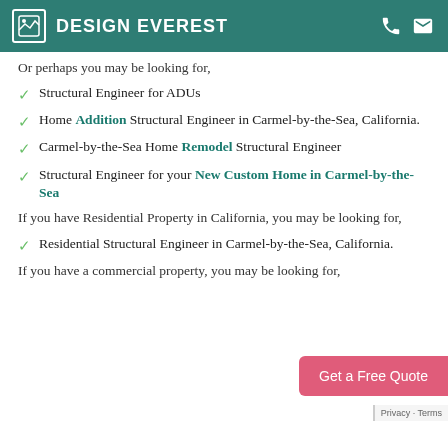DESIGN EVEREST
Or perhaps you may be looking for,
Structural Engineer for ADUs
Home Addition Structural Engineer in Carmel-by-the-Sea, California.
Carmel-by-the-Sea Home Remodel Structural Engineer
Structural Engineer for your New Custom Home in Carmel-by-the-Sea
If you have Residential Property in California, you may be looking for,
Residential Structural Engineer in Carmel-by-the-Sea, California.
If you have a commercial property, you may be looking for,